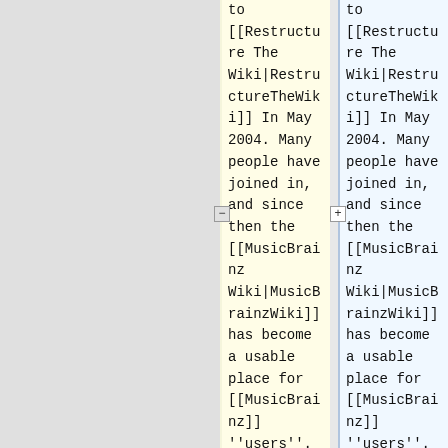to [[Restructure The Wiki|RestructureTheWiki]] In May 2004. Many people have joined in, and since then the [[MusicBrainz Wiki|MusicBrainzWiki]] has become a usable place for [[MusicBrainz]] ''users''.
to [[Restructure The Wiki|RestructureTheWiki]] In May 2004. Many people have joined in, and since then the [[MusicBrainz Wiki|MusicBrainzWiki]] has become a usable place for [[MusicBrainz]] ''users''.